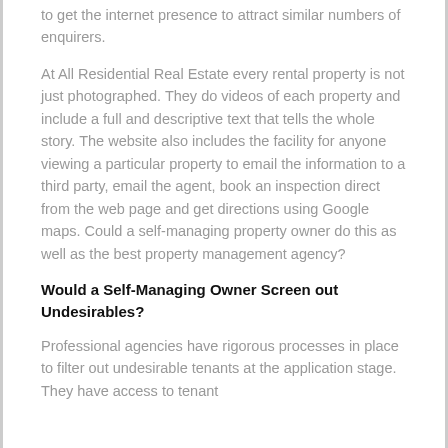to get the internet presence to attract similar numbers of enquirers.
At All Residential Real Estate every rental property is not just photographed. They do videos of each property and include a full and descriptive text that tells the whole story. The website also includes the facility for anyone viewing a particular property to email the information to a third party, email the agent, book an inspection direct from the web page and get directions using Google maps. Could a self-managing property owner do this as well as the best property management agency?
Would a Self-Managing Owner Screen out Undesirables?
Professional agencies have rigorous processes in place to filter out undesirable tenants at the application stage. They have access to tenant